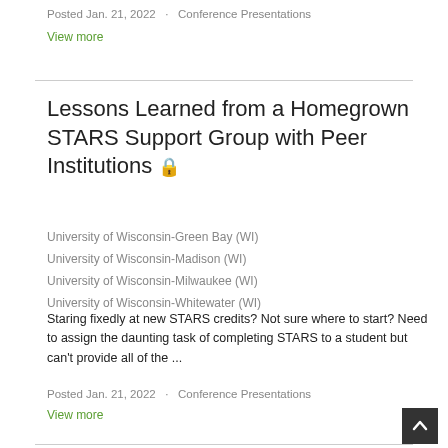Posted Jan. 21, 2022   ·   Conference Presentations
View more
Lessons Learned from a Homegrown STARS Support Group with Peer Institutions 🔒
University of Wisconsin-Green Bay (WI)
University of Wisconsin-Madison (WI)
University of Wisconsin-Milwaukee (WI)
University of Wisconsin-Whitewater (WI)
Staring fixedly at new STARS credits? Not sure where to start? Need to assign the daunting task of completing STARS to a student but can't provide all of the ...
Posted Jan. 21, 2022   ·   Conference Presentations
View more